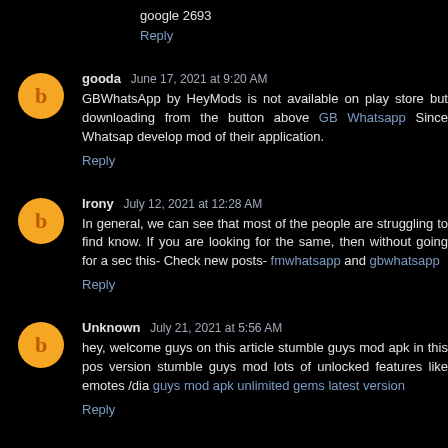google 2693
Reply
gooda  June 17, 2021 at 9:20 AM
GBWhatsApp by HeyMods is not available on play store but downloading from the button above GB Whatsapp Since Whatsapp develop mod of their application.
Reply
Irony  July 12, 2021 at 12:28 AM
In general, we can see that most of the people are struggling to find know. If you are looking for the same, then without going for a second this- Check new posts- fmwhatsapp and gbwhatsapp
Reply
Unknown  July 21, 2021 at 5:56 AM
hey, welcome guys on this article stumble guys mod apk in this post version stumble guys mod lots of unlocked features like emotes /dia guys mod apk unlimited gems latest version
Reply